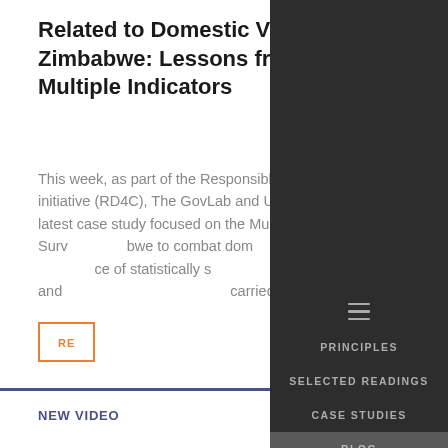Related to Domestic Violence in Zimbabwe: Lessons from Clustering Multiple Indicators
This week, as part of the Responsible Data for Children initiative (RD4C), The GovLab and UNICEF launched its latest case study focused on the Multiple Indicator Cluster Survey in Zimbabwe to combat domestic violence and the importance of statistically sound, actionable data on women and children. The survey was carried ou...
[Figure (screenshot): Navigation dropdown menu overlay on dark background with hamburger icon at top, showing menu items: PRINCIPLES, SELECTED READINGS, CASE STUDIES, BLOG (highlighted/active), TOOLS, REPORT]
PRINCIPLES
SELECTED READINGS
CASE STUDIES
BLOG
TOOLS
REPORT
NEW VIDEO